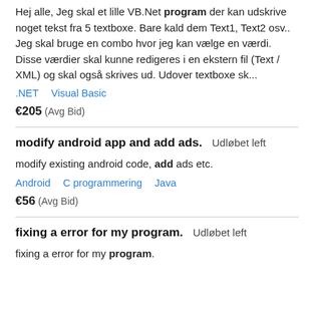Hej alle, Jeg skal et lille VB.Net program der kan udskrive noget tekst fra 5 textboxe. Bare kald dem Text1, Text2 osv.. Jeg skal bruge en combo hvor jeg kan vælge en værdi. Disse værdier skal kunne redigeres i en ekstern fil (Text / XML) og skal også skrives ud. Udover textboxe sk...
.NET   Visual Basic
€205  (Avg Bid)
modify android app and add ads.
Udløbet left
modify existing android code, add ads etc.
Android   C programmering   Java
€56  (Avg Bid)
fixing a error for my program.
Udløbet left
fixing a error for my program.